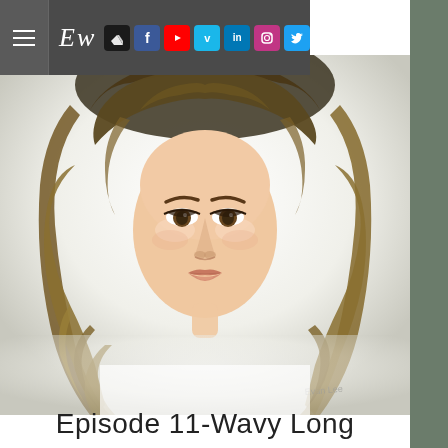© 2021 Evan Lee. All rights reserved.
[Figure (illustration): Digital portrait illustration of a young woman with wavy long blonde-brown hair, realistic painting style, white background, with artist signature at bottom right. Navigation bar overlay at top with hamburger menu, stylized 'Ew' logo, and social media icons (ArtStation, Facebook, YouTube, Vimeo, LinkedIn, Instagram, Twitter).]
Episode 11-Wavy Long